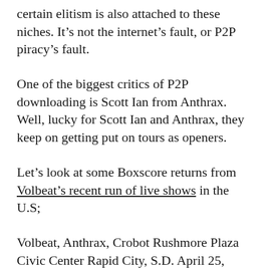certain elitism is also attached to these niches. It’s not the internet’s fault, or P2P piracy’s fault.
One of the biggest critics of P2P downloading is Scott Ian from Anthrax. Well, lucky for Scott Ian and Anthrax, they keep on getting put on tours as openers.
Let’s look at some Boxscore returns from Volbeat’s recent run of live shows in the U.S;
Volbeat, Anthrax, Crobot Rushmore Plaza Civic Center Rapid City, S.D. April 25, 2015